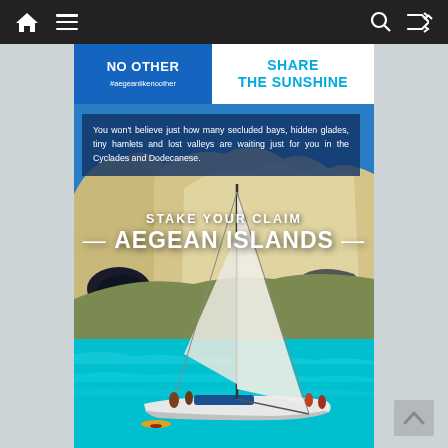Navigation bar with home, menu, search, and shuffle icons
NO OTHER
#aegeanlikenoother
SHARE THE SUNSHINE
You won't believe just how many secluded bays, hidden glades, tiny hamlets and lost valleys are waiting just for you in the Cyclades and Dodecanese.
STAKE YOUR CLAIM
— AEGEAN ISLANDS —
[Figure (photo): Sailing yacht on turquoise water in front of dramatic white limestone cliffs, Aegean Islands, Greece]